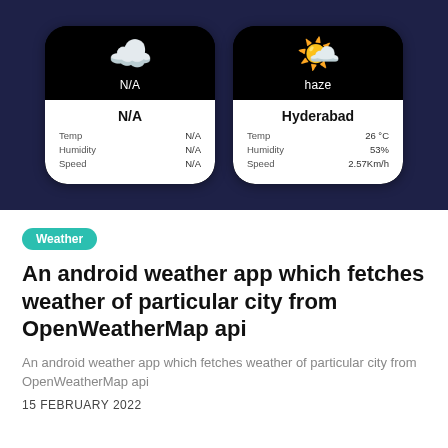[Figure (screenshot): Two mobile app UI cards side by side on a dark navy background. Left card shows a cloud icon with 'N/A' condition and white data panel with N/A values for Temp, Humidity, Speed. Right card shows a sun/haze icon with 'haze' condition and white data panel showing Hyderabad, Temp 26°C, Humidity 53%, Speed 2.57Km/h.]
Weather
An android weather app which fetches weather of particular city from OpenWeatherMap api
An android weather app which fetches weather of particular city from OpenWeatherMap api
15 FEBRUARY 2022